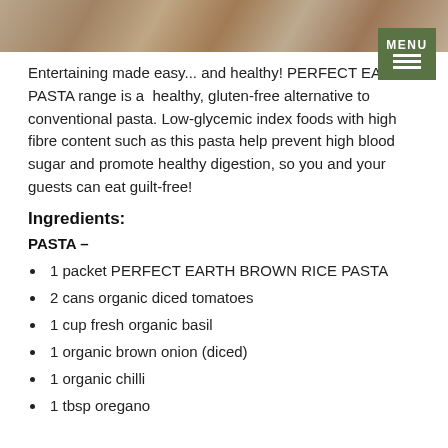[Figure (photo): Top portion of a food/pasta photo showing textured pasta on a wooden surface, partially cropped]
Entertaining made easy... and healthy! PERFECT EARTH PASTA range is a healthy, gluten-free alternative to conventional pasta. Low-glycemic index foods with high fibre content such as this pasta help prevent high blood sugar and promote healthy digestion, so you and your guests can eat guilt-free!
Ingredients:
PASTA –
1 packet PERFECT EARTH BROWN RICE PASTA
2 cans organic diced tomatoes
1 cup fresh organic basil
1 organic brown onion (diced)
1 organic chilli
1 tbsp oregano